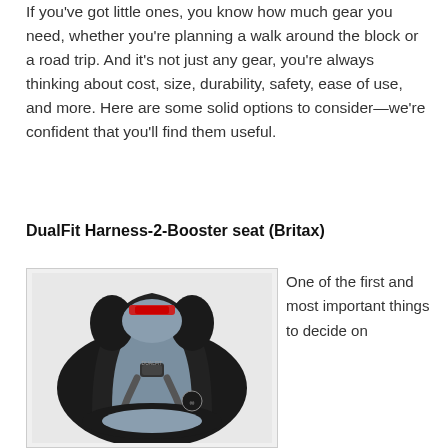If you've got little ones, you know how much gear you need, whether you're planning a walk around the block or a road trip. And it's not just any gear, you're always thinking about cost, size, durability, safety, ease of use, and more. Here are some solid options to consider—we're confident that you'll find them useful.
DualFit Harness-2-Booster seat (Britax)
[Figure (photo): Photo of a Britax DualFit Harness-2-Booster car seat, black and gray fabric, front-facing view showing the harness straps and padding.]
One of the first and most important things to decide on